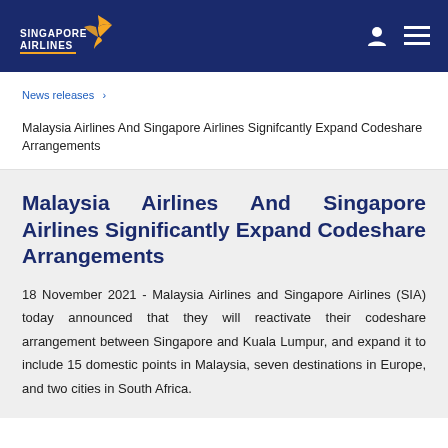SINGAPORE AIRLINES
News releases >
Malaysia Airlines And Singapore Airlines Significantly Expand Codeshare Arrangements
Malaysia Airlines And Singapore Airlines Significantly Expand Codeshare Arrangements
18 November 2021 - Malaysia Airlines and Singapore Airlines (SIA) today announced that they will reactivate their codeshare arrangement between Singapore and Kuala Lumpur, and expand it to include 15 domestic points in Malaysia, seven destinations in Europe, and two cities in South Africa.